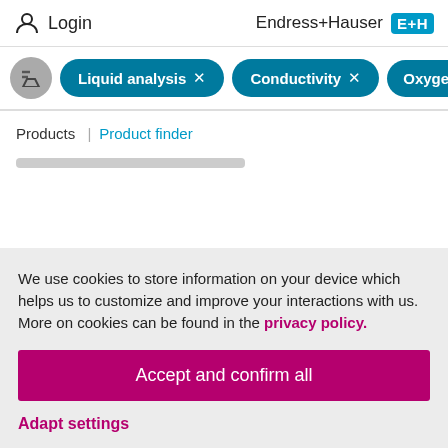Login  |  Endress+Hauser EH
[Figure (screenshot): Filter bar with teal rounded chips: 'Liquid analysis X', 'Conductivity X', 'Oxyge...' partially cut off; grey circular filter funnel icon on left]
Products  |  Product finder
We use cookies to store information on your device which helps us to customize and improve your interactions with us. More on cookies can be found in the privacy policy.
Accept and confirm all
Adapt settings